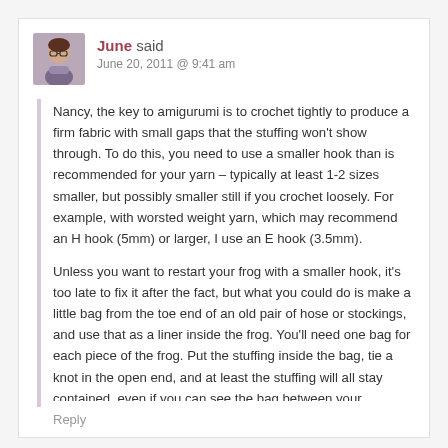[Figure (photo): Small avatar photo of a person wearing glasses]
June said
June 20, 2011 @ 9:41 am
Nancy, the key to amigurumi is to crochet tightly to produce a firm fabric with small gaps that the stuffing won't show through. To do this, you need to use a smaller hook than is recommended for your yarn – typically at least 1-2 sizes smaller, but possibly smaller still if you crochet loosely. For example, with worsted weight yarn, which may recommend an H hook (5mm) or larger, I use an E hook (3.5mm).
Unless you want to restart your frog with a smaller hook, it's too late to fix it after the fact, but what you could do is make a little bag from the toe end of an old pair of hose or stockings, and use that as a liner inside the frog. You'll need one bag for each piece of the frog. Put the stuffing inside the bag, tie a knot in the open end, and at least the stuffing will all stay contained, even if you can see the bag between your crocheted stitches!
Reply